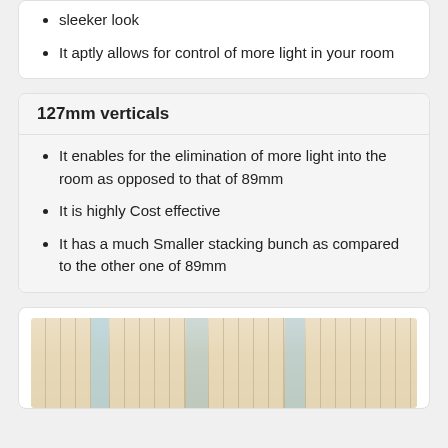sleeker look
It aptly allows for control of more light in your room
127mm verticals
It enables for the elimination of more light into the room as opposed to that of 89mm
It is highly Cost effective
It has a much Smaller stacking bunch as compared to the other one of 89mm
[Figure (photo): Interior room photo showing vertical blinds/curtains in cream/beige color with windows behind them]